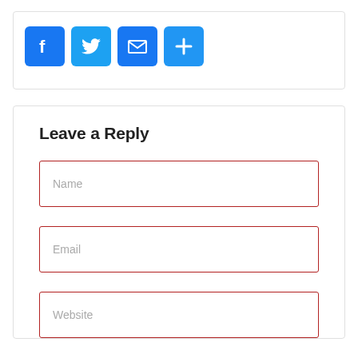[Figure (infographic): Social sharing icons: Facebook (blue F), Twitter (blue bird), Email (blue envelope), More/Share (blue plus sign)]
Leave a Reply
Name
Email
Website